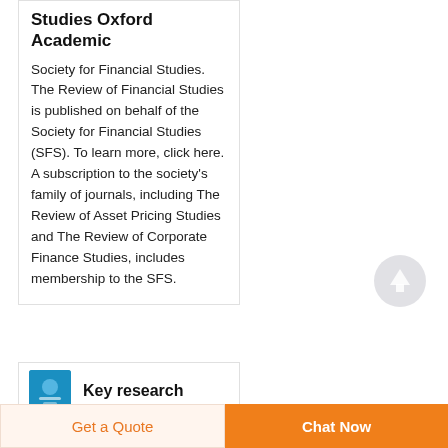Studies Oxford Academic
Society for Financial Studies. The Review of Financial Studies is published on behalf of the Society for Financial Studies (SFS). To learn more, click here. A subscription to the society's family of journals, including The Review of Asset Pricing Studies and The Review of Corporate Finance Studies, includes membership to the SFS.
[Figure (illustration): Circular scroll-to-top button with upward arrow, grey color]
Key research
Get a Quote | Chat Now